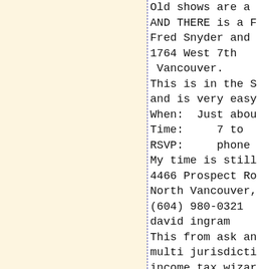Old shows are a
AND THERE is a F
Fred Snyder and
1764 West 7th
 Vancouver.
This is in the S
and is very easy
When:  Just abou
Time:     7 to
RSVP:     phone
My time is still
4466 Prospect Ro
North Vancouver,
(604) 980-0321
david ingram
This from ask an
multi jurisdicti
income tax wizar
preparer of Alas
 California Denv
Delaware Distri